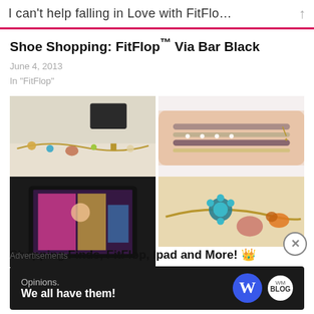I can't help falling in Love with FitFlo…
Shoe Shopping: FitFlop™ Via Bar Black
June 4, 2013
In "FitFlop"
[Figure (photo): Four photos of jewelry/bracelets arranged in a 2x2 grid. Top left: charm bracelet with colorful stones laid flat. Top right: stacked bracelets worn on wrist. Bottom left: TV screen with colorful image. Bottom right: close-up of charm bracelet with turquoise flower and pink stone.]
Shopping Finds, FitFlop, Ipad and More!
Advertisements
[Figure (screenshot): WordPress advertisement banner: dark background with text 'Opinions. We all have them!' and WordPress W logo and WM logo on the right.]